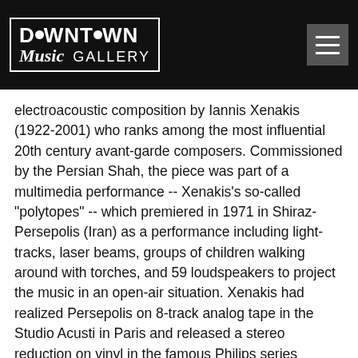[Figure (logo): Downtown Music Gallery logo — white text on black background with border, showing 'DOWNTOWN' in bold uppercase with a circular dot replacing the letter O, and italic 'Music' followed by 'GALLERY' in smaller caps, plus a hamburger menu icon on the right]
electroacoustic composition by Iannis Xenakis (1922-2001) who ranks among the most influential 20th century avant-garde composers. Commissioned by the Persian Shah, the piece was part of a multimedia performance -- Xenakis's so-called "polytopes" -- which premiered in 1971 in Shiraz-Persepolis (Iran) as a performance including light-tracks, laser beams, groups of children walking around with torches, and 59 loudspeakers to project the music in an open-air situation. Xenakis had realized Persepolis on 8-track analog tape in the Studio Acusti in Paris and released a stereo reduction on vinyl in the famous Philips series "Prospective 21e Siècle" in 1972, adding the new subtitle "We bear the light of the earth", his most hymnal title ever. Out of print for decades now, the LP became -- especially the Japanese edition from 1974 -- one of the most expensive collector's item of electroacoustic music. There were some later CD versions with different durations -- too long due to a wrong sample rate, others shortened by three minutes due to other reasons. The Perihel series now presents a new version: mixed from the original master 8-track tapes by longtime zeitkratzer sound engineer Martin Wurmnest and